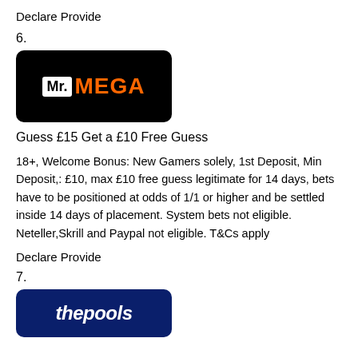Declare Provide
6.
[Figure (logo): Mr. MEGA logo — black rounded rectangle with 'Mr.' in white box and 'MEGA' in orange text]
Guess £15 Get a £10 Free Guess
18+, Welcome Bonus: New Gamers solely, 1st Deposit, Min Deposit,: £10, max £10 free guess legitimate for 14 days, bets have to be positioned at odds of 1/1 or higher and be settled inside 14 days of placement. System bets not eligible. Neteller,Skrill and Paypal not eligible. T&Cs apply
Declare Provide
7.
[Figure (logo): thepools logo — dark navy blue rounded rectangle with 'thepools' in white italic text]